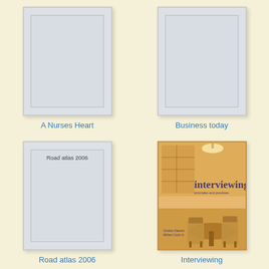[Figure (illustration): Book cover placeholder for 'A Nurses Heart' - grey rectangle with inner border]
A Nurses Heart
[Figure (illustration): Book cover placeholder for 'Business today' - grey rectangle with inner border]
Business today
[Figure (illustration): Book cover placeholder for 'Road atlas 2006' - grey rectangle with inner border and title text inside]
Road atlas 2006
[Figure (illustration): Book cover for 'Interviewing: principles and practices' - orange/amber tinted cover with café/interview room scene, chairs and table]
Interviewing